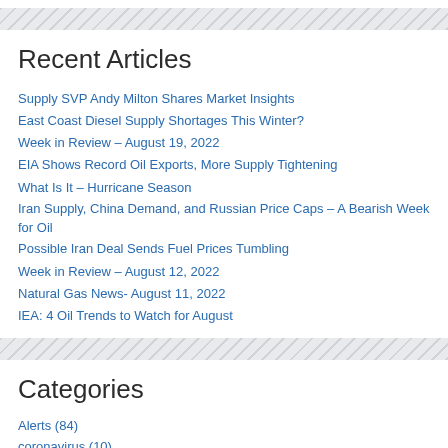Recent Articles
Supply SVP Andy Milton Shares Market Insights
East Coast Diesel Supply Shortages This Winter?
Week in Review – August 19, 2022
EIA Shows Record Oil Exports, More Supply Tightening
What Is It – Hurricane Season
Iran Supply, China Demand, and Russian Price Caps – A Bearish Week for Oil
Possible Iran Deal Sends Fuel Prices Tumbling
Week in Review – August 12, 2022
Natural Gas News- August 11, 2022
IEA: 4 Oil Trends to Watch for August
Categories
Alerts (84)
coronavirus (10)